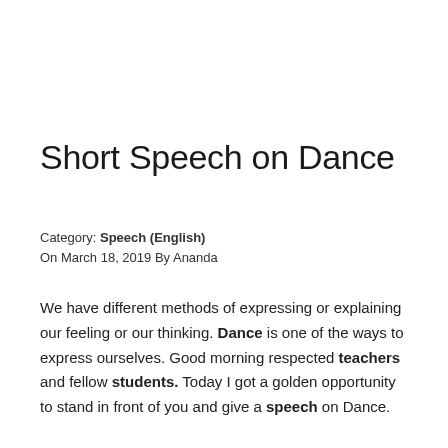Short Speech on Dance
Category: Speech (English)
On March 18, 2019 By Ananda
We have different methods of expressing or explaining our feeling or our thinking. Dance is one of the ways to express ourselves. Good morning respected teachers and fellow students. Today I got a golden opportunity to stand in front of you and give a speech on Dance.
In our country, India, we find different tradition and